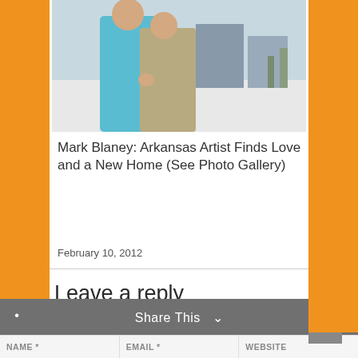[Figure (photo): Two people embracing outdoors in winter/snowy setting, one wearing a teal/turquoise jacket and one wearing a tan/beige jacket. Snowy background with buildings visible.]
Mark Blaney: Arkansas Artist Finds Love and a New Home (See Photo Gallery)
February 10, 2012
Leave a reply
Your email address will not be published. Required fields are marked *
COMMENT
Share This
NAME *   EMAIL *   WEBSITE